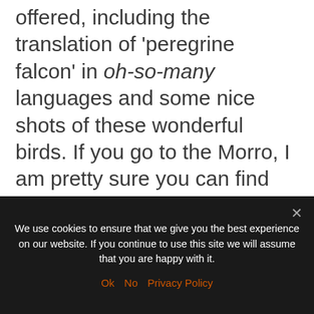offered, including the translation of 'peregrine falcon' in oh-so-many languages and some nice shots of these wonderful birds. If you go to the Morro, I am pretty sure you can find him: he's been following the peregrines since 1969.
Shortly after people were already gathered and ready to go for the bicycle parade. There were families, athletes, young couples, kids,
We use cookies to ensure that we give you the best experience on our website. If you continue to use this site we will assume that you are happy with it.
Ok  No  Privacy Policy